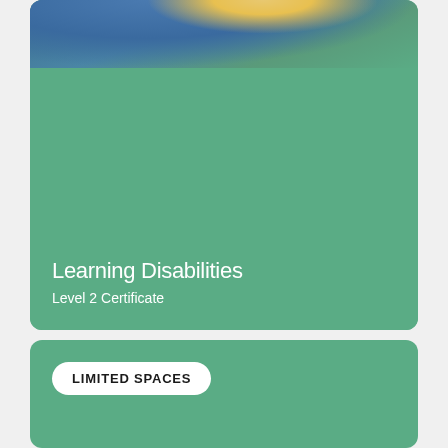[Figure (photo): Photo of person wearing yellow top and denim jacket, cropped at top of card]
Learning Disabilities
Level 2 Certificate
LIMITED SPACES